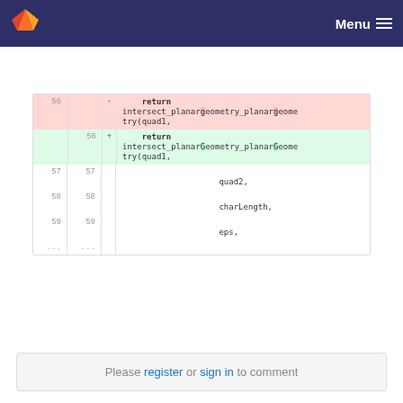Menu
[Figure (screenshot): GitLab diff view showing a code change renaming intersect_planargeometry_planargeometry to intersect_planarGeometry_planarGeometry in lines 56-59, with context lines 57-59 showing quad2, charLength, eps arguments.]
Please register or sign in to comment